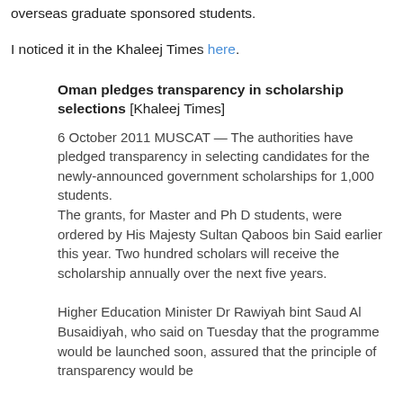overseas graduate sponsored students.
I noticed it in the Khaleej Times here.
Oman pledges transparency in scholarship selections [Khaleej Times]
6 October 2011 MUSCAT — The authorities have pledged transparency in selecting candidates for the newly-announced government scholarships for 1,000 students.
The grants, for Master and Ph D students, were ordered by His Majesty Sultan Qaboos bin Said earlier this year. Two hundred scholars will receive the scholarship annually over the next five years.
Higher Education Minister Dr Rawiyah bint Saud Al Busaidiyah, who said on Tuesday that the programme would be launched soon, assured that the principle of transparency would be